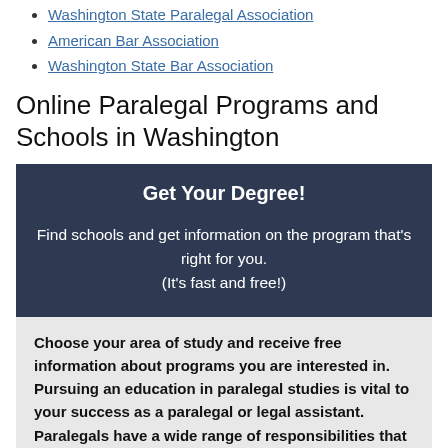Washington State Paralegal Association
American Bar Association
Washington State Bar Association
Online Paralegal Programs and Schools in Washington
Get Your Degree!

Find schools and get information on the program that's right for you.
(It's fast and free!)
Choose your area of study and receive free information about programs you are interested in. Pursuing an education in paralegal studies is vital to your success as a paralegal or legal assistant. Paralegals have a wide range of responsibilities that attorneys, law offices, and